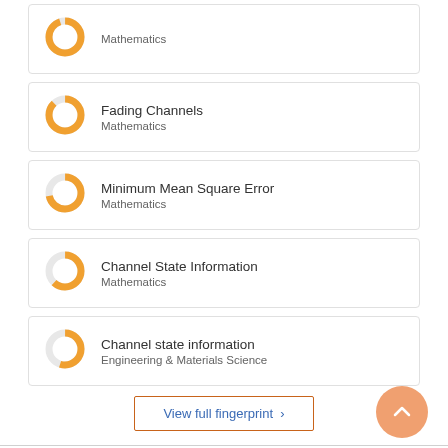Mathematics (partial donut, ~95%)
Fading Channels / Mathematics
Minimum Mean Square Error / Mathematics
Channel State Information / Mathematics
Channel state information / Engineering & Materials Science
View full fingerprint >
Cite this